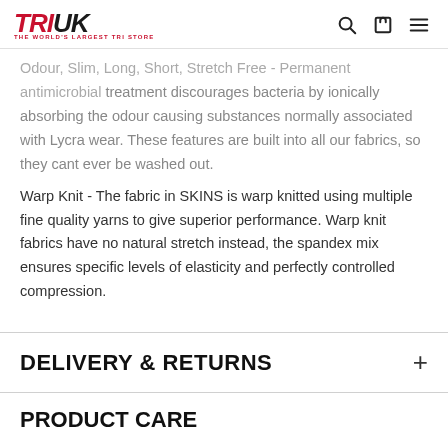TRIUK THE WORLD'S LARGEST TRI STORE
Odour, Slim, Long, Short, Stretch Free - Permanent antimicrobial treatment discourages bacteria by ionically absorbing the odour causing substances normally associated with Lycra wear. These features are built into all our fabrics, so they cant ever be washed out.
Warp Knit - The fabric in SKINS is warp knitted using multiple fine quality yarns to give superior performance. Warp knit fabrics have no natural stretch instead, the spandex mix ensures specific levels of elasticity and perfectly controlled compression.
DELIVERY & RETURNS
PRODUCT CARE